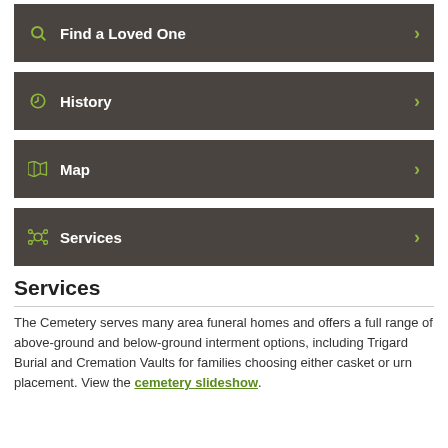Find a Loved One
History
Map
Services
Services
The Cemetery serves many area funeral homes and offers a full range of above-ground and below-ground interment options, including Trigard Burial and Cremation Vaults for families choosing either casket or urn placement. View the cemetery slideshow.